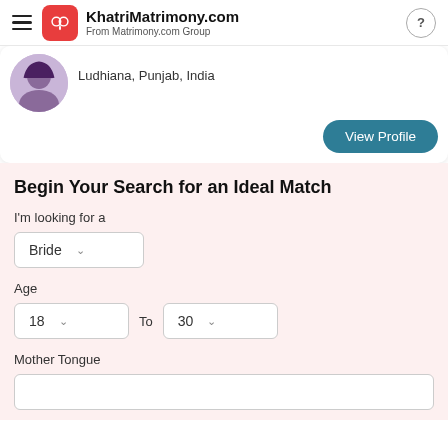KhatriMatrimony.com — From Matrimony.com Group
Ludhiana, Punjab, India
View Profile
Begin Your Search for an Ideal Match
I'm looking for a
Bride
Age
18 To 30
Mother Tongue